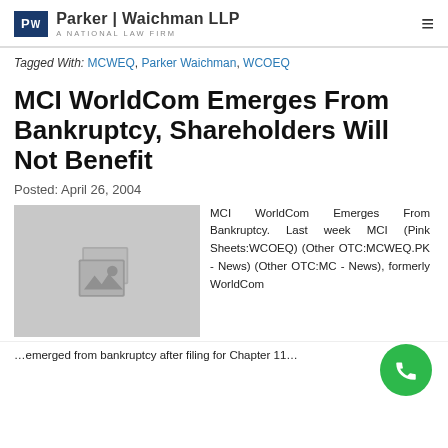Parker | Waichman LLP — A NATIONAL LAW FIRM
Tagged With: MCWEQ, Parker Waichman, WCOEQ
MCI WorldCom Emerges From Bankruptcy, Shareholders Will Not Benefit
Posted: April 26, 2004
[Figure (photo): Placeholder image with photo icon]
MCI WorldCom Emerges From Bankruptcy. Last week MCI (Pink Sheets:WCOEQ) (Other OTC:MCWEQ.PK - News) (Other OTC:MC… - News), formerly Wor…om
…emerged from bankruptcy after filing for Chapter 11…